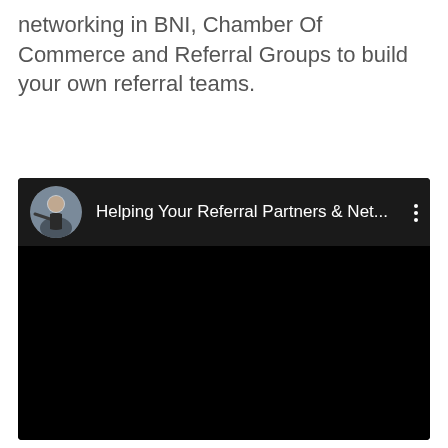networking in BNI, Chamber Of Commerce and Referral Groups to build your own referral teams.
[Figure (screenshot): Embedded video player screenshot with dark/black background. Top bar shows a circular avatar of a man in dark clothing, followed by the title 'Helping Your Referral Partners & Net...' in white text, and a three-dot menu icon on the right. The main video area is entirely black.]